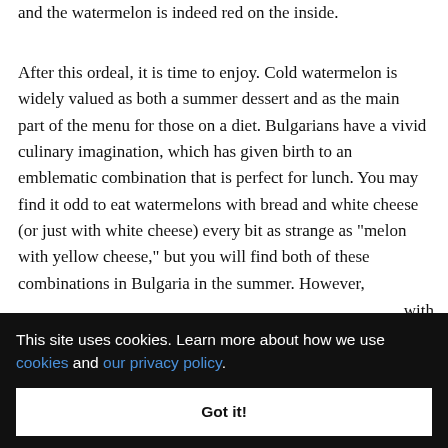and the watermelon is indeed red on the inside.
After this ordeal, it is time to enjoy. Cold watermelon is widely valued as both a summer dessert and as the main part of the menu for those on a diet. Bulgarians have a vivid culinary imagination, which has given birth to an emblematic combination that is perfect for lunch. You may find it odd to eat watermelons with bread and white cheese (or just with white cheese) every bit as strange as "melon with yellow cheese," but you will find both of these combinations in Bulgaria in the summer. However,
with
.
This site uses cookies. Learn more about how we use cookies and our privacy policy.
Got it!